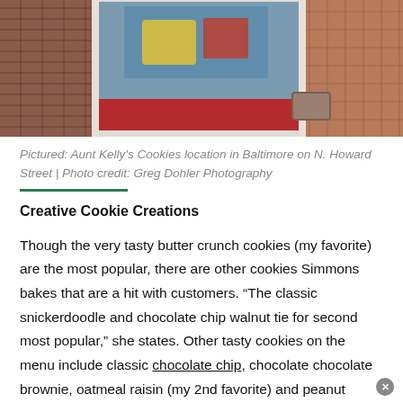[Figure (photo): Storefront photo of Aunt Kelly's Cookies location in Baltimore on N. Howard Street, showing brick wall, window with colorful signage, red stripe banner, and brick sidewalk.]
Pictured: Aunt Kelly's Cookies location in Baltimore on N. Howard Street | Photo credit: Greg Dohler Photography
Creative Cookie Creations
Though the very tasty butter crunch cookies (my favorite) are the most popular, there are other cookies Simmons bakes that are a hit with customers. “The classic snickerdoodle and chocolate chip walnut tie for second most popular,” she states. Other tasty cookies on the menu include classic chocolate chip, chocolate chocolate brownie, oatmeal raisin (my 2nd favorite) and peanut butter.